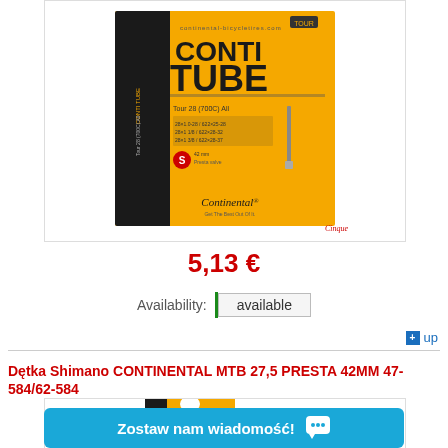[Figure (photo): Continental Conti Tube Tour 28 (700C) All bicycle inner tube product box, orange and black packaging with Continental logo]
5,13 €
Availability: available
up
Dętka Shimano CONTINENTAL MTB 27,5 PRESTA 42MM 47-584/62-584
[Figure (photo): Continental inner tube product box, orange packaging with hang hole, partially visible, with chat widget overlay reading 'Zostaw nam wiadomość!']